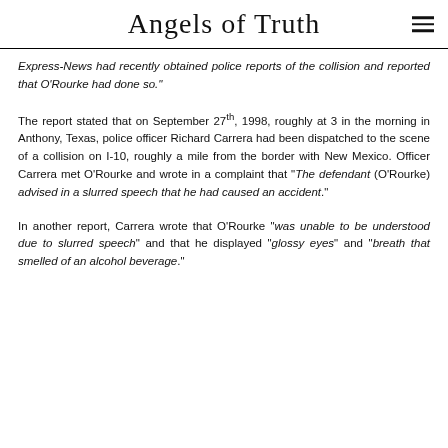Angels of Truth
Express-News had recently obtained police reports of the collision and reported that O'Rourke had done so."
The report stated that on September 27th, 1998, roughly at 3 in the morning in Anthony, Texas, police officer Richard Carrera had been dispatched to the scene of a collision on I-10, roughly a mile from the border with New Mexico. Officer Carrera met O'Rourke and wrote in a complaint that "The defendant (O'Rourke) advised in a slurred speech that he had caused an accident."
In another report, Carrera wrote that O'Rourke "was unable to be understood due to slurred speech" and that he displayed "glossy eyes" and "breath that smelled of an alcohol beverage".